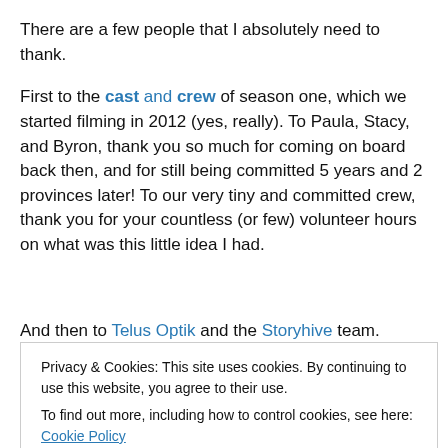There are a few people that I absolutely need to thank.
First to the cast and crew of season one, which we started filming in 2012 (yes, really). To Paula, Stacy, and Byron, thank you so much for coming on board back then, and for still being committed 5 years and 2 provinces later! To our very tiny and committed crew, thank you for your countless (or few) volunteer hours on what was this little idea I had.
And then to Telus Optik and the Storyhive team. There in
Privacy & Cookies: This site uses cookies. By continuing to use this website, you agree to their use.
To find out more, including how to control cookies, see here: Cookie Policy
Close and accept
To the season 2 team…Season 2 was achieved with a